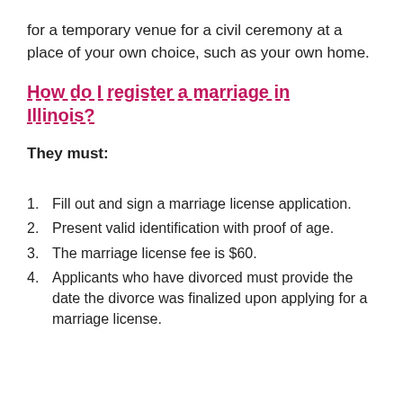for a temporary venue for a civil ceremony at a place of your own choice, such as your own home.
How do I register a marriage in Illinois?
They must:
Fill out and sign a marriage license application.
Present valid identification with proof of age.
The marriage license fee is $60.
Applicants who have divorced must provide the date the divorce was finalized upon applying for a marriage license.